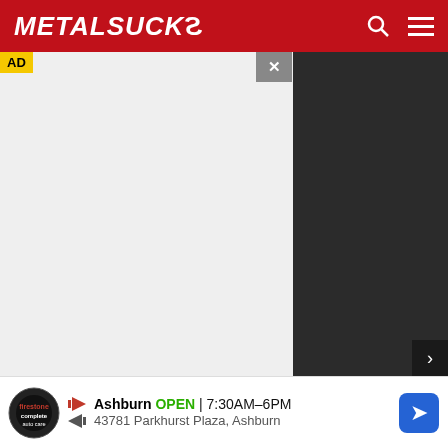MetalSucks
[Figure (screenshot): Advertisement overlay showing a white ad box with AD label and close button (×), and a dark gray panel on the right side, on top of a web page.]
phondoms were ultimately ineffective: as of this morning, there's plenty of fan-filmed video from the show online. We spotted the occasional pouch torn open and left empty on the venue floor, so clearly, some people were able to get theirs open; for the sake of curiosity, I tried to open mine and had no luck. In any case, I've put all the video I've found so far below, in chrono
[Figure (screenshot): Bottom advertisement banner: Auto repair shop - Ashburn OPEN 7:30AM-6PM, 43781 Parkhurst Plaza, Ashburn, with Firestone Auto Care logo and a blue diamond-shaped direction arrow.]